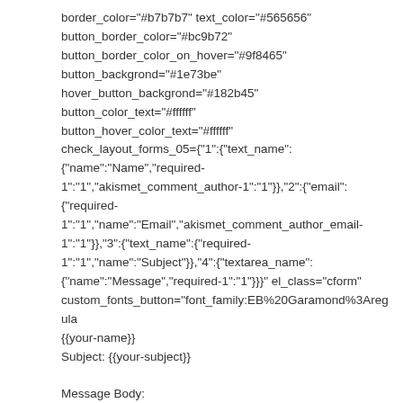border_color="#b7b7b7" text_color="#565656"
button_border_color="#bc9b72"
button_border_color_on_hover="#9f8465"
button_backgrond="#1e73be"
hover_button_backgrond="#182b45"
button_color_text="#ffffff"
button_hover_color_text="#ffffff"
check_layout_forms_05="{"1":{"text_name":
{"name":"Name","required-
1":"1","akismet_comment_author-1":"1"}},"2":{"email":
{"required-
1":"1","name":"Email","akismet_comment_author_email-
1":"1"}},"3":{"text_name":{"required-
1":"1","name":"Subject"}},"4":{"textarea_name":
{"name":"Message","required-1":"1"}}}" el_class="cform"
custom_fonts_button="font_family:EB%20Garamond%3Aregula
{{your-name}}
Subject: {{your-subject}}

Message Body:
{{your-message}}

–

This e-mail was sent from a contact